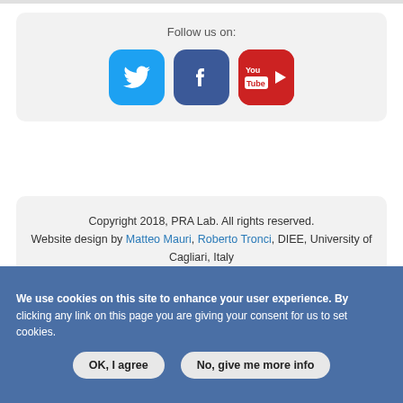[Figure (infographic): A rounded box with 'Follow us on:' label and three social media icon buttons: Twitter (blue bird), Facebook (dark blue f), YouTube (red with You Tube label).]
[Figure (logo): PRA Lab logo with stylized letters PR and 'Lab' text in gray.]
Copyright 2018, PRA Lab. All rights reserved. Website design by Matteo Mauri, Roberto Tronci, DIEE, University of Cagliari, Italy
We use cookies on this site to enhance your user experience. By clicking any link on this page you are giving your consent for us to set cookies.
OK, I agree
No, give me more info